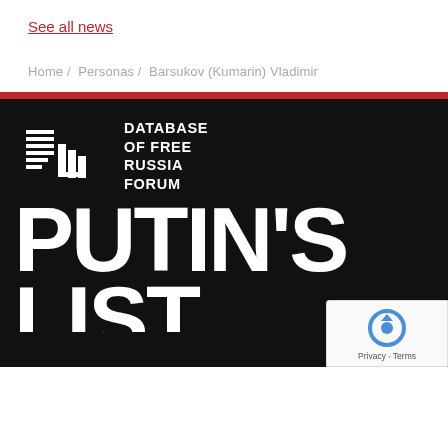See all news
Home / Personas / Barsukov (Kumarin) Vladimir
[Figure (logo): Database of Free Russia Forum logo with icon on dark background, followed by large white bold text reading PUTIN'S LIST partially visible]
[Figure (other): reCAPTCHA badge with Privacy - Terms text]